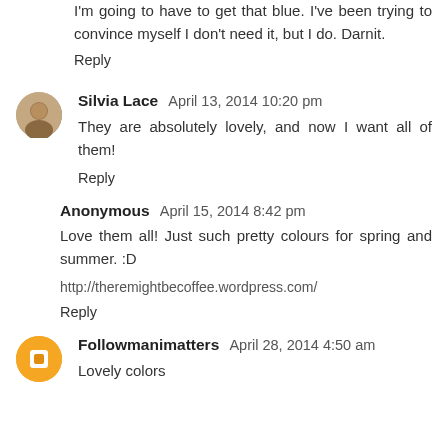I'm going to have to get that blue. I've been trying to convince myself I don't need it, but I do. Darnit.
Reply
Silvia Lace  April 13, 2014 10:20 pm
They are absolutely lovely, and now I want all of them!
Reply
Anonymous  April 15, 2014 8:42 pm
Love them all! Just such pretty colours for spring and summer. :D
http://theremightbecoffee.wordpress.com/
Reply
Followmanimatters  April 28, 2014 4:50 am
Lovely colors